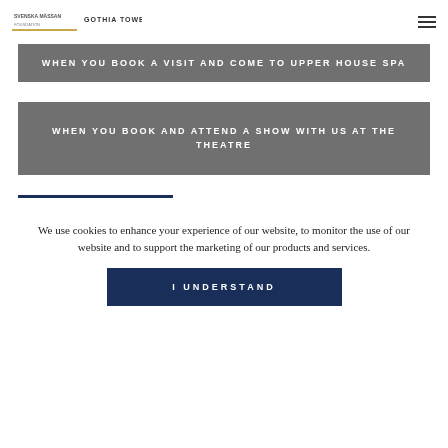Svenska Mässan Gothia Towers
WHEN YOU BOOK A VISIT AND COME TO UPPER HOUSE SPA
WHEN YOU BOOK AND ATTEND A SHOW WITH US AT THE THEATRE
We use cookies to enhance your experience of our website, to monitor the use of our website and to support the marketing of our products and services.
I UNDERSTAND